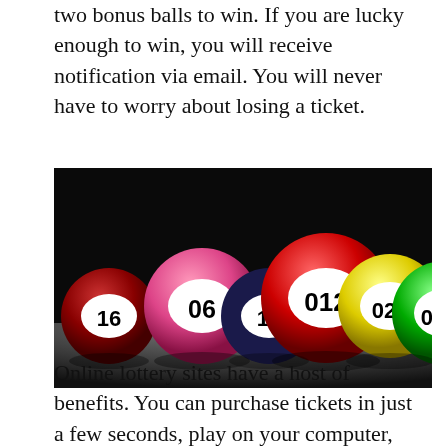two bonus balls to win. If you are lucky enough to win, you will receive notification via email. You will never have to worry about losing a ticket.
[Figure (photo): A photo of colorful lottery balls with numbers on them: 16, 06, 11, 012, 023, 034, arranged in a row against a dark background.]
Online lottery sites have a host of benefits. You can purchase tickets in just a few seconds, play on your computer, and even play on your